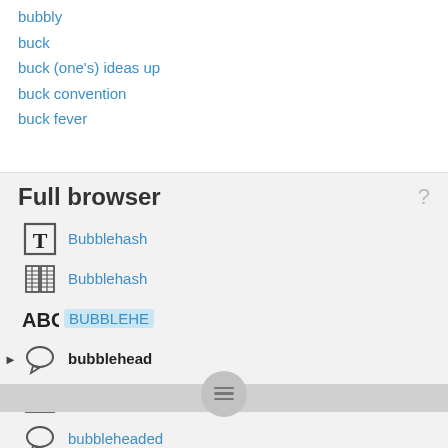bubbly
buck
buck (one's) ideas up
buck convention
buck fever
Full browser
Bubblehash (T icon)
Bubblehash (book icon)
BUBBLEHE (ABC icon)
bubblehead (chat icon, current)
bubbleheaded (book icon)
bubbleheaded (chat icon)
bubbleheads (book icon)
bubbleheads (chat icon)